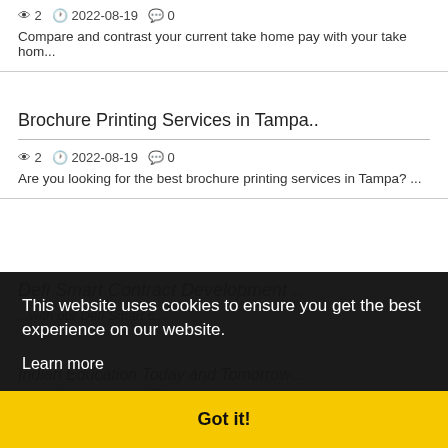👁 2  🕐 2022-08-19  💬 0
Compare and contrast your current take home pay with your take hom...
Brochure Printing Services in Tampa..
👁 2  🕐 2022-08-19  💬 0
Are you looking for the best brochure printing services in Tampa? ...
Defi Smart Contract Development ..
This website uses cookies to ensure you get the best experience on our website.
Learn more
...with our Defi Smart c...
Indian Education Today and Tomorrow...
👁 5  🕐 2022-08-19  💬 0
speakingfountain.com is provide Micro blogs, poems, Quotes, Topics...
Got it!